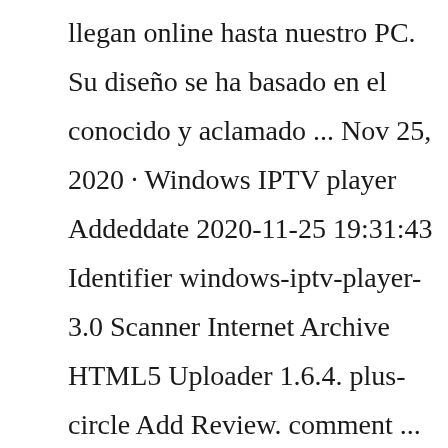llegan online hasta nuestro PC. Su diseño se ha basado en el conocido y aclamado ... Nov 25, 2020 · Windows IPTV player Addeddate 2020-11-25 19:31:43 Identifier windows-iptv-player-3.0 Scanner Internet Archive HTML5 Uploader 1.6.4. plus-circle Add Review. comment ... Ibo player is a General Media Player and it doesn't include any content or playlists.; Ibo player doesn't sell playlists or subscriptions.; iboiptv.com is the only official website. Any websites